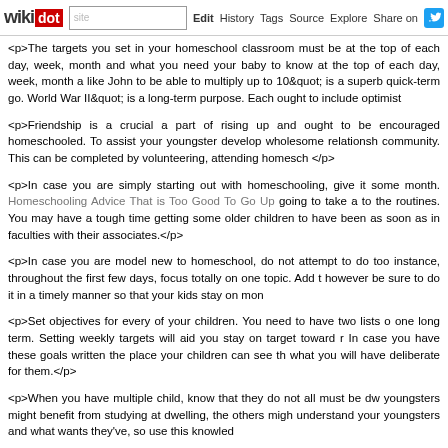wikidot | site | Edit | History | Tags | Source | Explore | Share on [Twitter]
<p>The targets you set in your homeschool classroom must be at the top of each day, week, month and what you need your baby to know at the top of each day, week, month a like John to be able to multiply up to 10" is a superb quick-term go. World War II" is a long-term purpose. Each ought to include optimist</p>
<p>Friendship is a crucial a part of rising up and ought to be encouraged homeschooled. To assist your youngster develop wholesome relationships community. This can be completed by volunteering, attending homesch </p>
<p>In case you are simply starting out with homeschooling, give it some month. Homeschooling Advice That is Too Good To Go Up going to take a to the routines. You may have a tough time getting some older children to have been as soon as in faculties with their associates.</p>
<p>In case you are model new to homeschool, do not attempt to do too instance, throughout the first few days, focus totally on one topic. Add t however be sure to do it in a timely manner so that your kids stay on mon</p>
<p>Set objectives for every of your children. You need to have two lists o one long term. Setting weekly targets will aid you stay on target toward r In case you have these goals written the place your children can see the what you will have deliberate for them.</p>
<p>When you have multiple child, know that they do not all must be dw youngsters might benefit from studying at dwelling, the others migh understand your youngsters and what wants they've, so use this knowled</p>
<p>If one teaching style simply isn't working for you strive one thing e schooling you might be free to attempt whatever you please simply as lo</p>